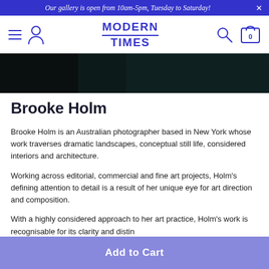Our gallery is open from 10am-5pm, Tuesday to Saturday!
[Figure (screenshot): Navigation bar with hamburger menu, person icon, Modern Times logo in blue, search icon, and cart icon with 0 count]
[Figure (photo): Dark hero image strip, predominantly black/dark teal tones]
Brooke Holm
Brooke Holm is an Australian photographer based in New York whose work traverses dramatic landscapes, conceptual still life, considered interiors and architecture.
Working across editorial, commercial and fine art projects, Holm's defining attention to detail is a result of her unique eye for art direction and composition.
With a highly considered approach to her art practice, Holm's work is recognisable for its clarity and distin...